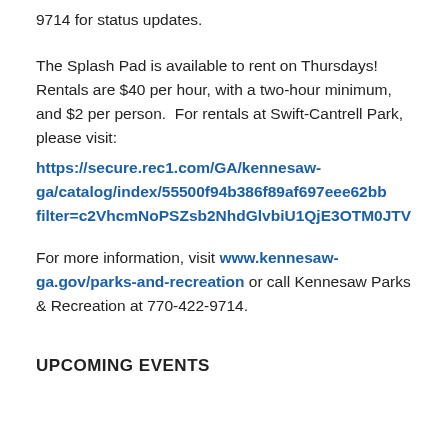9714 for status updates.
The Splash Pad is available to rent on Thursdays! Rentals are $40 per hour, with a two-hour minimum, and $2 per person.  For rentals at Swift-Cantrell Park, please visit:
https://secure.rec1.com/GA/kennesaw-ga/catalog/index/55500f94b386f89af697eee62bb/filter=c2VhcmNoPSZsb2NhdGlvbiU1QjE3OTM0JTV
For more information, visit www.kennesaw-ga.gov/parks-and-recreation or call Kennesaw Parks & Recreation at 770-422-9714.
UPCOMING EVENTS